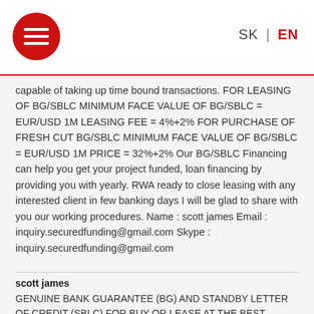[Figure (logo): Red circular menu icon with three horizontal lines (hamburger menu)]
SK | EN
capable of taking up time bound transactions. FOR LEASING OF BG/SBLC MINIMUM FACE VALUE OF BG/SBLC = EUR/USD 1M LEASING FEE = 4%+2% FOR PURCHASE OF FRESH CUT BG/SBLC MINIMUM FACE VALUE OF BG/SBLC = EUR/USD 1M PRICE = 32%+2% Our BG/SBLC Financing can help you get your project funded, loan financing by providing you with yearly. RWA ready to close leasing with any interested client in few banking days I will be glad to share with you our working procedures. Name : scott james Email : inquiry.securedfunding@gmail.com Skype : inquiry.securedfunding@gmail.com
scott james
GENUINE BANK GUARANTEE (BG) AND STANDBY LETTER OF CREDIT (SBLC) FOR BUY OR LEASE AT THE BEST AVAILABLE